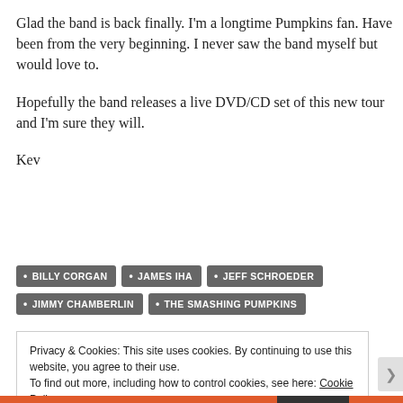Glad the band is back finally. I'm a longtime Pumpkins fan. Have been from the very beginning. I never saw the band myself but would love to.
Hopefully the band releases a live DVD/CD set of this new tour and I'm sure they will.
Kev
BILLY CORGAN
JAMES IHA
JEFF SCHROEDER
JIMMY CHAMBERLIN
THE SMASHING PUMPKINS
Privacy & Cookies: This site uses cookies. By continuing to use this website, you agree to their use. To find out more, including how to control cookies, see here: Cookie Policy
Close and accept